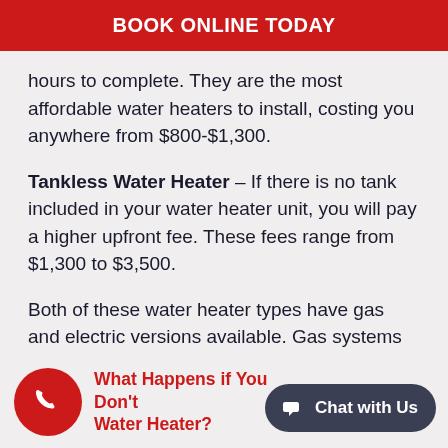BOOK ONLINE TODAY
hours to complete. They are the most affordable water heaters to install, costing you anywhere from $800-$1,300.
Tankless Water Heater – If there is no tank included in your water heater unit, you will pay a higher upfront fee. These fees range from $1,300 to $3,500.
Both of these water heater types have gas and electric versions available. Gas systems tend to cost more to install.
What Happens if You Don't Water Heater?